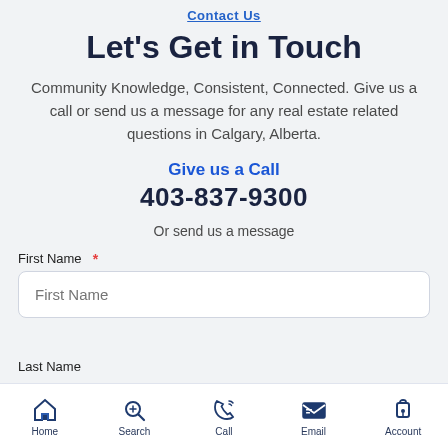Contact Us
Let's Get in Touch
Community Knowledge, Consistent, Connected. Give us a call or send us a message for any real estate related questions in Calgary, Alberta.
Give us a Call
403-837-9300
Or send us a message
First Name *
Last Name